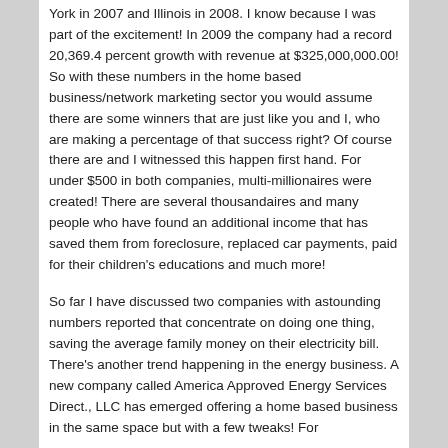York in 2007 and Illinois in 2008. I know because I was part of the excitement! In 2009 the company had a record 20,369.4 percent growth with revenue at $325,000,000.00! So with these numbers in the home based business/network marketing sector you would assume there are some winners that are just like you and I, who are making a percentage of that success right? Of course there are and I witnessed this happen first hand. For under $500 in both companies, multi-millionaires were created! There are several thousandaires and many people who have found an additional income that has saved them from foreclosure, replaced car payments, paid for their children's educations and much more!
So far I have discussed two companies with astounding numbers reported that concentrate on doing one thing, saving the average family money on their electricity bill. There's another trend happening in the energy business. A new company called America Approved Energy Services Direct., LLC has emerged offering a home based business in the same space but with a few tweaks! For